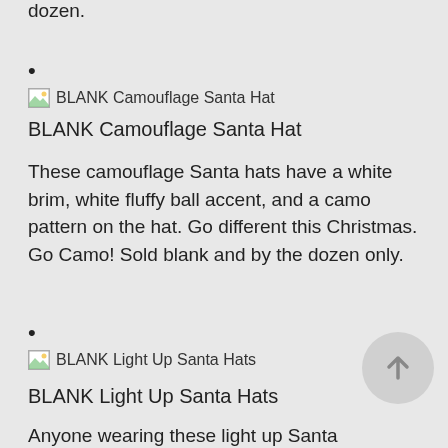dozen.
• [image: BLANK Camouflage Santa Hat] BLANK Camouflage Santa Hat
BLANK Camouflage Santa Hat
These camouflage Santa hats have a white brim, white fluffy ball accent, and a camo pattern on the hat. Go different this Christmas. Go Camo! Sold blank and by the dozen only.
• [image: BLANK Light Up Santa Hats] BLANK Light Up Santa Hats
BLANK Light Up Santa Hats
Anyone wearing these light up Santa